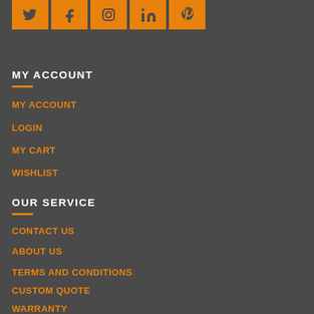[Figure (other): Social media icons row: Twitter, Facebook, Instagram, LinkedIn, Pinterest - orange square icons]
MY ACCOUNT
MY ACCOUNT
LOGIN
MY CART
WISHLIST
OUR SERVICE
CONTACT US
ABOUT US
TERMS AND CONDITIONS
CUSTOM QUOTE
WARRANTY
FAQS